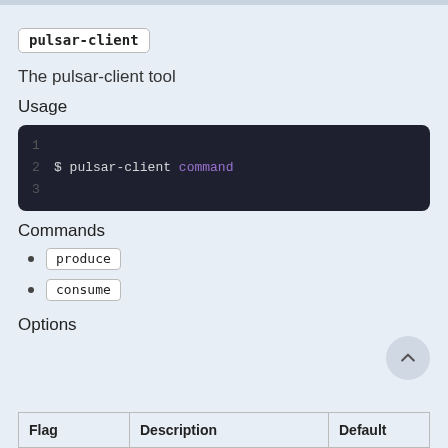pulsar-client
The pulsar-client tool
Usage
[Figure (screenshot): Code block showing: $ pulsar-client command]
Commands
produce
consume
Options
| Flag | Description | Default |
| --- | --- | --- |